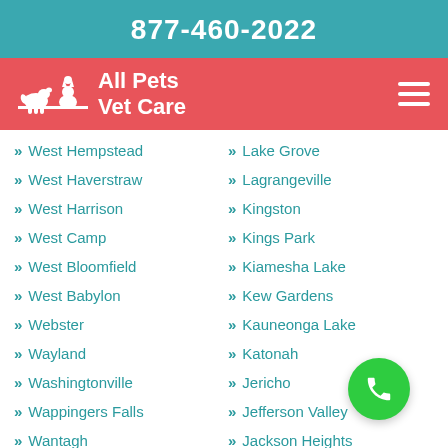877-460-2022
All Pets Vet Care
West Hempstead
Lake Grove
West Haverstraw
Lagrangeville
West Harrison
Kingston
West Camp
Kings Park
West Bloomfield
Kiamesha Lake
West Babylon
Kew Gardens
Webster
Kauneonga Lake
Wayland
Katonah
Washingtonville
Jericho
Wappingers Falls
Jefferson Valley
Wantagh
Jackson Heights
Walworth
Islip Terrace
Wallkill
Islip